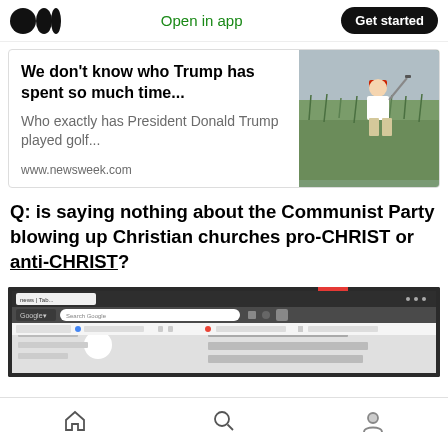Medium — Open in app — Get started
[Figure (screenshot): Article card showing 'We don't know who Trump has spent so much time...' with a photo of a man golfing in a field, and source www.newsweek.com]
Q: is saying nothing about the Communist Party blowing up Christian churches pro-CHRIST or anti-CHRIST?
[Figure (screenshot): Screenshot of a web browser showing Google and some tabs open]
Home | Search | Profile navigation icons